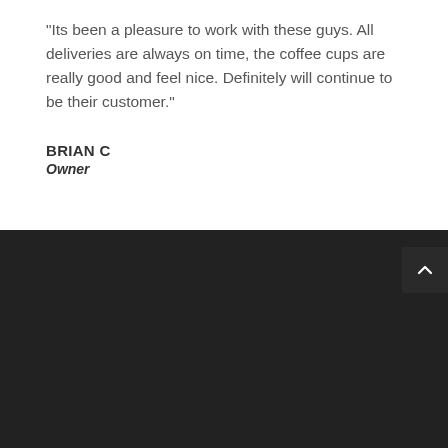“Its been a pleasure to work with these guys. All deliveries are always on time, the coffee cups are really good and feel nice. Definitely will continue to be their customer.”
BRIAN C
Owner
[Figure (other): Dark footer section with scroll-to-top button]